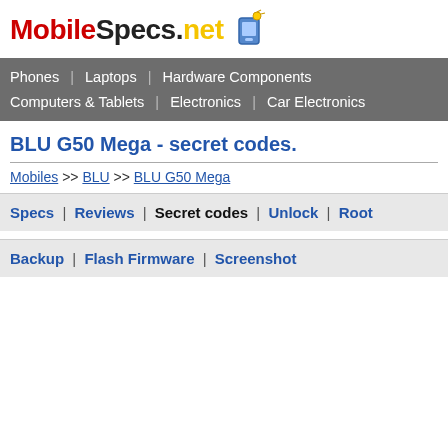MobileSpecs.net
Phones | Laptops | Hardware Components | Computers & Tablets | Electronics | Car Electronics
BLU G50 Mega - secret codes.
Mobiles >> BLU >> BLU G50 Mega
Specs | Reviews | Secret codes | Unlock | Root
Backup | Flash Firmware | Screenshot